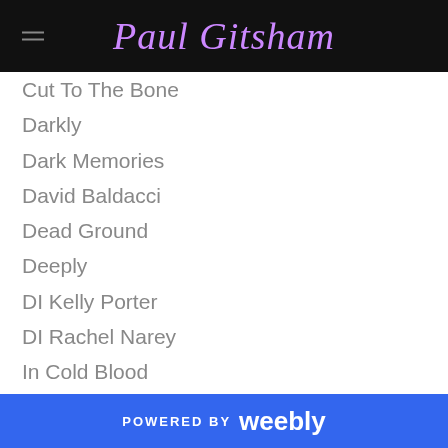Paul Gitsham
Cut To The Bone
Darkly
Dark Memories
David Baldacci
Dead Ground
Deeply
DI Kelly Porter
DI Rachel Narey
In Cold Blood
Investigative Reporter
Jack McEvoy
Jack Reacher
Jane Bettany
Karin Nordin
Kidnap
Kjeld Nygaard
POWERED BY weebly